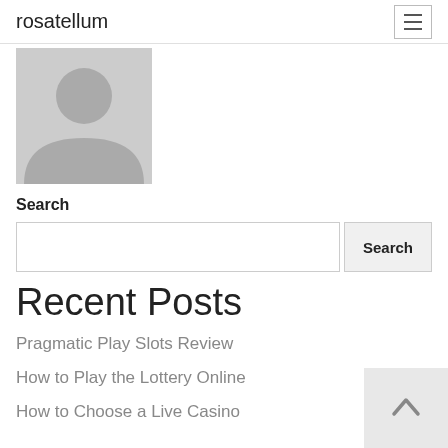rosatellum
[Figure (illustration): Generic user avatar placeholder — grey silhouette of a person on a light grey square background]
Search
Search input field with Search button
Recent Posts
Pragmatic Play Slots Review
How to Play the Lottery Online
How to Choose a Live Casino